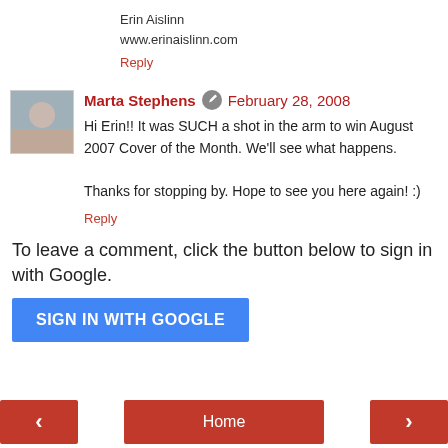Erin Aislinn
www.erinaislinn.com
Reply
Marta Stephens  February 28, 2008
Hi Erin!! It was SUCH a shot in the arm to win August 2007 Cover of the Month. We'll see what happens.

Thanks for stopping by. Hope to see you here again! :)
Reply
To leave a comment, click the button below to sign in with Google.
SIGN IN WITH GOOGLE
< Home >